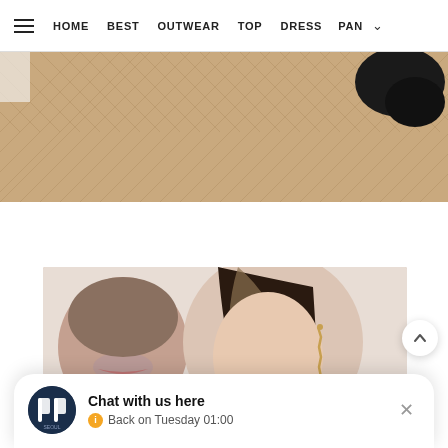HOME  BEST  OUTWEAR  TOP  DRESS  PANT
[Figure (photo): Close-up of parquet herringbone wood floor with a dark shoe partially visible in top right corner]
[Figure (photo): Two young women in close-up portrait, one with light brown hair wearing white and floral clothing]
Chat with us here
Back on Tuesday 01:00